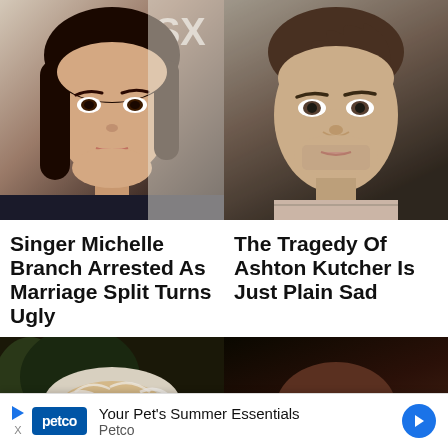[Figure (photo): Photo of singer Michelle Branch, woman with dark hair and brown eyes against a white background with 'SX' text visible]
[Figure (photo): Photo of Ashton Kutcher, man with brown curly hair and light stubble]
Singer Michelle Branch Arrested As Marriage Split Turns Ugly
The Tragedy Of Ashton Kutcher Is Just Plain Sad
[Figure (photo): Photo of an older man with white/silver hair, partially visible]
[Figure (photo): Photo of a Black woman wearing round gold-rimmed glasses]
Your Pet's Summer Essentials Petco